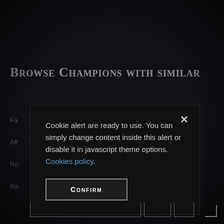Browse Champions with similar
Fa
Aff
Ro
Ra
Cookie alert are ready to use. You can simply change content inside this alert or disable it in javascript theme options. Cookies policy.
Confirm